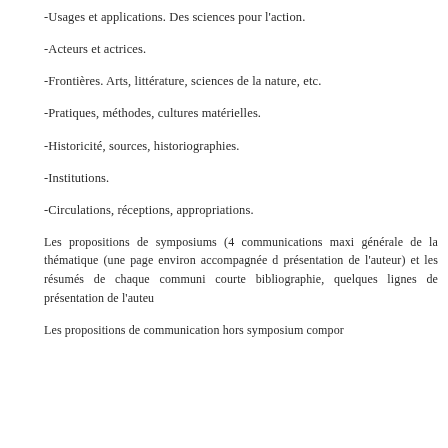-Usages et applications. Des sciences pour l'action.
-Acteurs et actrices.
-Frontières. Arts, littérature, sciences de la nature, etc.
-Pratiques, méthodes, cultures matérielles.
-Historicité, sources, historiographies.
-Institutions.
-Circulations, réceptions, appropriations.
Les propositions de symposiums (4 communications maxi générale de la thématique (une page environ accompagnée d présentation de l'auteur) et les résumés de chaque communi courte bibliographie, quelques lignes de présentation de l'auteu
Les propositions de communication hors symposium compor